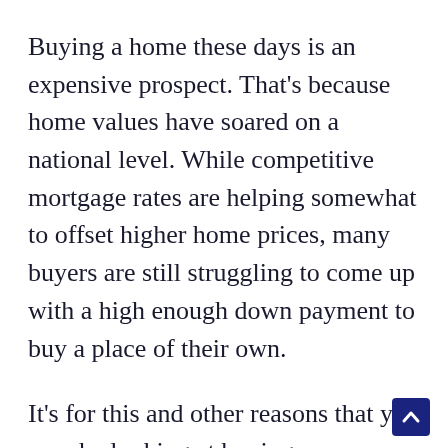Buying a home these days is an expensive prospect. That's because home values have soared on a national level. While competitive mortgage rates are helping somewhat to offset higher home prices, many buyers are still struggling to come up with a high enough down payment to buy a place of their own.
It's for this and other reasons that you may be looking at buying a townhouse. Since townhouses tend to be smaller than standalone homes, they also tend to cost less. The result? You won't need as hig